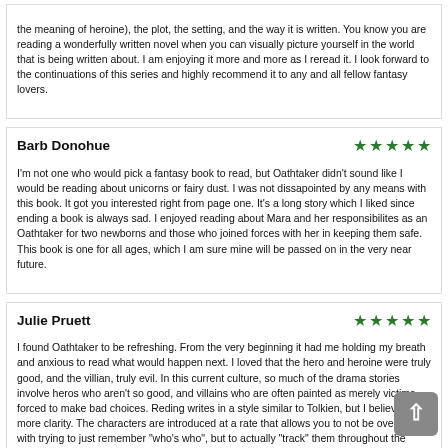the meaning of heroine), the plot, the setting, and the way it is written. You know you are reading a wonderfully written novel when you can visually picture yourself in the world that is being written about. I am enjoying it more and more as I reread it. I look forward to the continuations of this series and highly recommend it to any and all fellow fantasy lovers.
Barb Donohue — 5 stars
I'm not one who would pick a fantasy book to read, but Oathtaker didn't sound like I would be reading about unicorns or fairy dust. I was not dissapointed by any means with this book. It got you interested right from page one. It's a long story which I liked since ending a book is always sad. I enjoyed reading about Mara and her responsibilites as an Oathtaker for two newborns and those who joined forces with her in keeping them safe. This book is one for all ages, which I am sure mine will be passed on in the very near future.
Julie Pruett — 5 stars
I found Oathtaker to be refreshing. From the very beginning it had me holding my breath and anxious to read what would happen next. I loved that the hero and heroine were truly good, and the villian, truly evil. In this current culture, so much of the drama stories involve heros who aren't so good, and villains who are often painted as merely victims forced to make bad choices. Reding writes in a style similar to Tolkien, but I believe, with more clarity. The characters are introduced at a rate that allows you to not be overcome with trying to just remember "who's who", but to actually "track" them throughout the book. The spiritual analogies are sometimes subtle, but powerful. It is quite a long read, but I had trouble putting it down and am thoroughly excited to begin reading the next in the series! ! Keep them coming! !
Tammy H. — 3 stars (partial)
Amazed at how quickly this book engulfed me. A riveting story about good and evil that kept me on the edge of my seat and left me wanting more. I highly recommend this book to anyone looking to